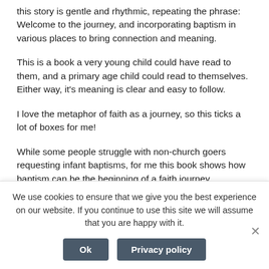this story is gentle and rhythmic, repeating the phrase: Welcome to the journey, and incorporating baptism in various places to bring connection and meaning.
This is a book a very young child could have read to them, and a primary age child could read to themselves. Either way, it's meaning is clear and easy to follow.
I love the metaphor of faith as a journey, so this ticks a lot of boxes for me!
While some people struggle with non-church goers requesting infant baptisms, for me this book shows how baptism can be the beginning of a faith journey.
I will be sending my copy to a friend who had a baby this week
We use cookies to ensure that we give you the best experience on our website. If you continue to use this site we will assume that you are happy with it.